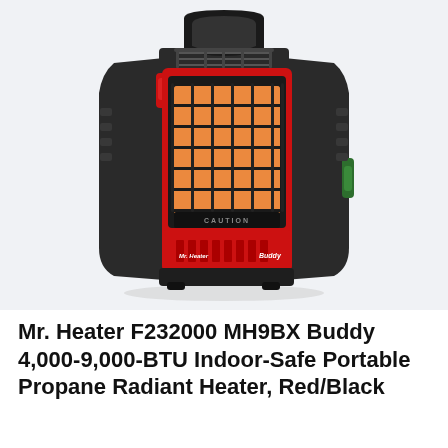[Figure (photo): Mr. Heater F232000 MH9BX Buddy portable propane radiant heater in red and black, shown at a slight angle. The heater has a black carry handle on top, a wire guard grill over an orange ceramic heating element, a red lower panel with 'Mr. Heater' and 'Buddy' branding, ventilation slots at the bottom, and rubber feet.]
Mr. Heater F232000 MH9BX Buddy 4,000-9,000-BTU Indoor-Safe Portable Propane Radiant Heater, Red/Black